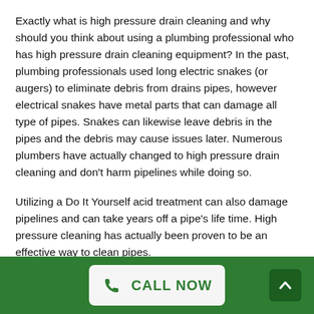Exactly what is high pressure drain cleaning and why should you think about using a plumbing professional who has high pressure drain cleaning equipment? In the past, plumbing professionals used long electric snakes (or augers) to eliminate debris from drains pipes, however electrical snakes have metal parts that can damage all type of pipes. Snakes can likewise leave debris in the pipes and the debris may cause issues later. Numerous plumbers have actually changed to high pressure drain cleaning and don't harm pipelines while doing so.
Utilizing a Do It Yourself acid treatment can also damage pipelines and can take years off a pipe's life time. High pressure cleaning has actually been proven to be an effective way to clean pipes.
CALL NOW